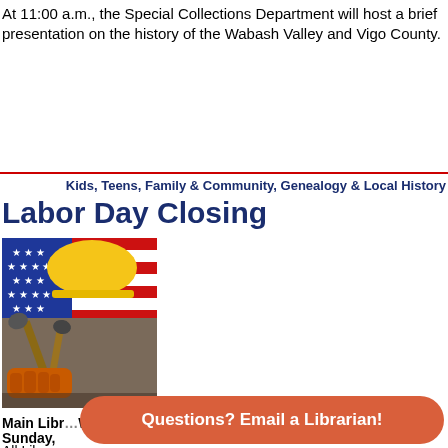At 11:00 a.m., the Special Collections Department will host a brief presentation on the history of the Wabash Valley and Vigo County.
Kids, Teens, Family & Community, Genealogy & Local History
Labor Day Closing
[Figure (photo): Photo of a yellow hard hat, American flag, work tools including hammers, and orange work gloves arranged together on a wooden surface, representing Labor Day.]
Main Library, West Branch Library
Sunday,
All Libr...
Questions? Email a Librarian!